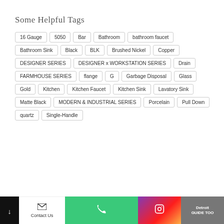Some Helpful Tags
16 Gauge
5050
Bar
Bathroom
bathroom faucet
Bathroom Sink
Black
BLK
Brushed Nickel
Copper
DESIGNER SERIES
DESIGNER x WORKSTATION SERIES
Drain
FARMHOUSE SERIES
flange
G
Garbage Disposal
Glass
Gold
Kitchen
Kitchen Faucet
Kitchen Sink
Lavatory Sink
Matte Black
MODERN & INDUSTRIAL SERIES
Porcelain
Pull Down
quartz
Single-Handle
Contact Us | Phone | Instagram | Detroit Guide Too